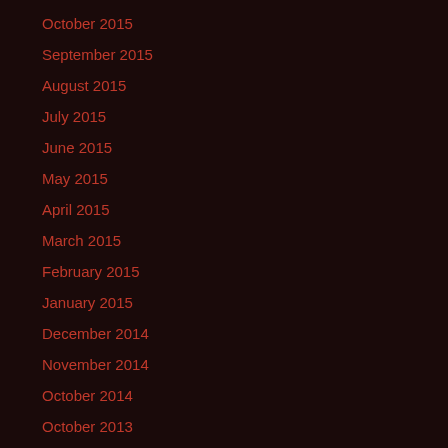October 2015
September 2015
August 2015
July 2015
June 2015
May 2015
April 2015
March 2015
February 2015
January 2015
December 2014
November 2014
October 2014
October 2013
September 2013